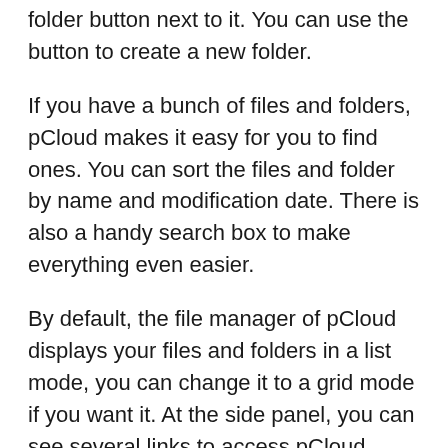folder button next to it. You can use the button to create a new folder.
If you have a bunch of files and folders, pCloud makes it easy for you to find ones. You can sort the files and folder by name and modification date. There is also a handy search box to make everything even easier.
By default, the file manager of pCloud displays your files and folders in a list mode, you can change it to a grid mode if you want it. At the side panel, you can see several links to access pCloud features.